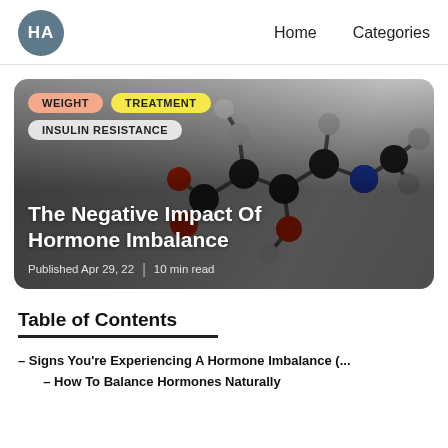HA   Home   Categories
[Figure (photo): Hero card with a 3D molecular model (ball-and-stick, black/red/blue/grey atoms) against a grey gradient background. Tags: WEIGHT, TREATMENT, INSULIN RESISTANCE. Title: The Negative Impact Of Hormone Imbalance. Published Apr 29, 22 | 10 min read.]
Table of Contents
– Signs You're Experiencing A Hormone Imbalance (...
– How To Balance Hormones Naturally